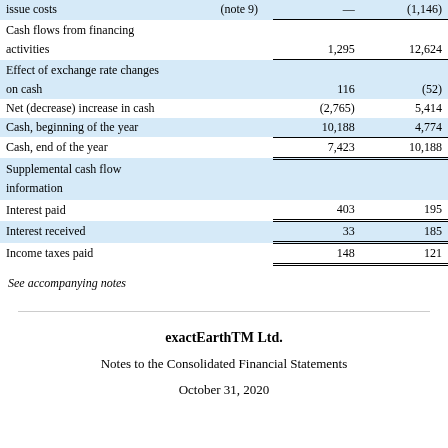|  | (note 9) | — | (1,146) |
| --- | --- | --- | --- |
| issue costs | (note 9) | — | (1,146) |
| Cash flows from financing activities |  | 1,295 | 12,624 |
| Effect of exchange rate changes on cash |  | 116 | (52) |
| Net (decrease) increase in cash |  | (2,765) | 5,414 |
| Cash, beginning of the year |  | 10,188 | 4,774 |
| Cash, end of the year |  | 7,423 | 10,188 |
| Supplemental cash flow information |  |  |  |
| Interest paid |  | 403 | 195 |
| Interest received |  | 33 | 185 |
| Income taxes paid |  | 148 | 121 |
See accompanying notes
exactEarthTM Ltd.
Notes to the Consolidated Financial Statements
October 31, 2020